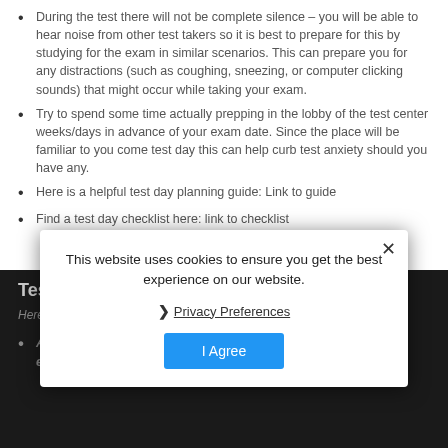During the test there will not be complete silence – you will be able to hear noise from other test takers so it is best to prepare for this by studying for the exam in similar scenarios. This can prepare you for any distractions (such as coughing, sneezing, or computer clicking sounds) that might occur while taking your exam.
Try to spend some time actually prepping in the lobby of the test center weeks/days in advance of your exam date. Since the place will be familiar to you come test day this can help curb test anxiety should you have any.
Here is a helpful test day planning guide: Link to guide
Find a test day checklist here: link to checklist
Test Day FAQ
Here are the top questions we receive about exam day information:
Are you allowed to listen to music while taking the GMAT exam?
This website uses cookies to ensure you get the best experience on our website.